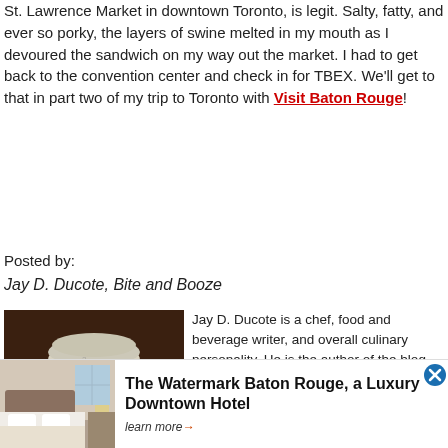St. Lawrence Market in downtown Toronto, is legit. Salty, fatty, and ever so porky, the layers of swine melted in my mouth as I devoured the sandwich on my way out the market. I had to get back to the convention center and check in for TBEX. We'll get to that in part two of my trip to Toronto with Visit Baton Rouge!
Posted by:
Jay D. Ducote, Bite and Booze
[Figure (photo): Headshot photo of Jay D. Ducote, a bearded man wearing a white chef hat and white chef coat, smiling, with a blurred warm background.]
Jay D. Ducote is a chef, food and beverage writer, and overall culinary personality. He is the author of the blog Bite and Booze, host of the Bite and Booze Radio Show, and co-host of Raise a Glass, both on the air in Baton Rouge.
[Figure (photo): Advertisement banner for The Watermark Baton Rouge, a Luxury Downtown Hotel, showing a hotel room image on the left.]
The Watermark Baton Rouge, a Luxury Downtown Hotel
learn more→